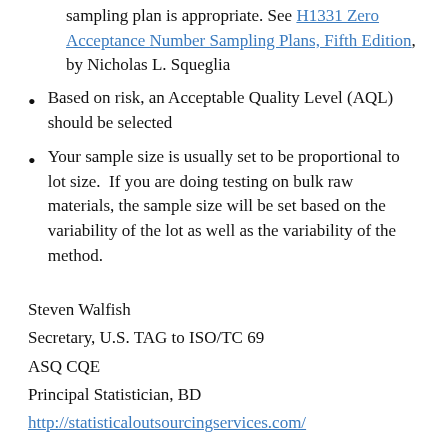sampling plan is appropriate. See H1331 Zero Acceptance Number Sampling Plans, Fifth Edition, by Nicholas L. Squeglia
Based on risk, an Acceptable Quality Level (AQL) should be selected
Your sample size is usually set to be proportional to lot size.  If you are doing testing on bulk raw materials, the sample size will be set based on the variability of the lot as well as the variability of the method.
Steven Walfish
Secretary, U.S. TAG to ISO/TC 69
ASQ CQE
Principal Statistician, BD
http://statisticaloutsourcingservices.com/